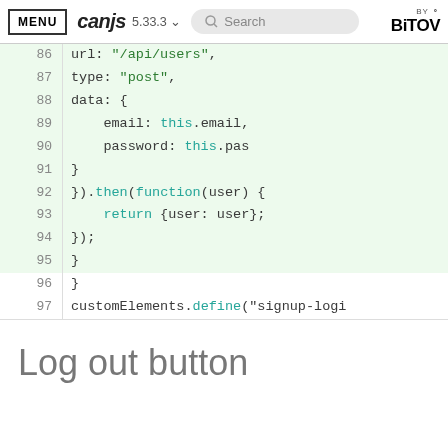MENU  canjs 5.33.3  Search  BY BITOV
[Figure (screenshot): Code editor screenshot showing JavaScript code lines 86-97 with syntax highlighting. Lines 86-95 have green background highlight. Code shows url, type, data properties, email, password fields, .then(function(user) block, return statement, closing braces, and customElements.define call.]
Log out button